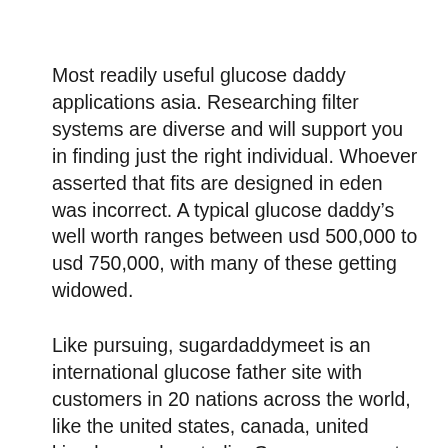Most readily useful glucose daddy applications asia. Researching filter systems are diverse and will support you in finding just the right individual. Whoever asserted that fits are designed in eden was incorrect. A typical glucose daddy’s well worth ranges between usd 500,000 to usd 750,000, with many of these getting widowed.
Like pursuing, sugardaddymeet is an international glucose father site with customers in 20 nations across the world, like the united states, canada, united kingdom and australia. Gayarrangement try a sugar dating internet site specifically